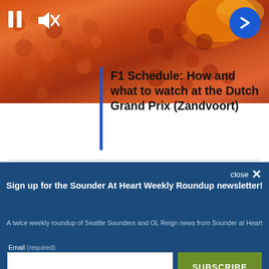[Figure (screenshot): Video player showing crowd of F1 fans with pause, mute, and forward arrow controls overlaid]
F1 Schedule: How and what to watch at the Dutch Grand Prix (Zandvoort)
Sign up for the Sounder At Heart Weekly Roundup newsletter!
A twice weekly roundup of Seattle Sounders and OL Reign news from Sounder at Heart
Email (required)
SUBSCRIBE
By submitting your email, you agree to our Terms and Privacy Notice. You can opt out at any time. This site is protected by reCAPTCHA and the Google Privacy Policy and Terms of Service apply.